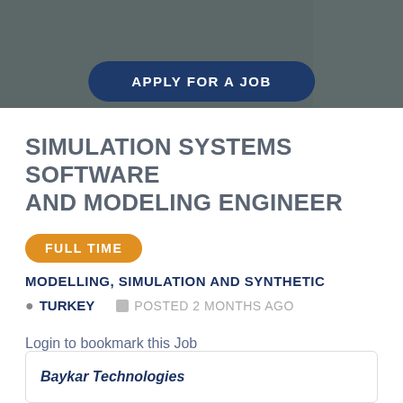[Figure (photo): Dark overlay hero banner with decorative blobs and an 'APPLY FOR A JOB' button]
SIMULATION SYSTEMS SOFTWARE AND MODELING ENGINEER
FULL TIME
MODELLING, SIMULATION AND SYNTHETIC
TURKEY   POSTED 2 MONTHS AGO
Login to bookmark this Job
COMPANY DETAILS
Baykar Technologies